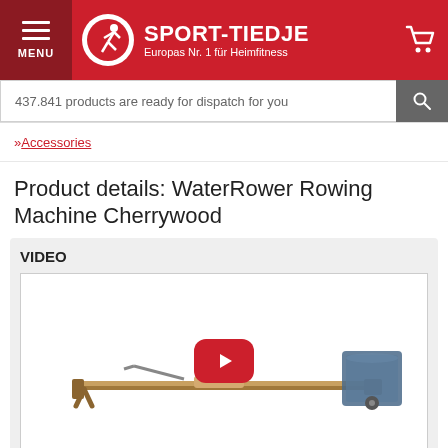SPORT-TIEDJE — Europas Nr. 1 für Heimfitness
437.841 products are ready for dispatch for you
» Accessories
Product details: WaterRower Rowing Machine Cherrywood
[Figure (screenshot): VIDEO section showing a WaterRower Rowing Machine Cherrywood with a red YouTube play button overlay in the center of a white video player area]